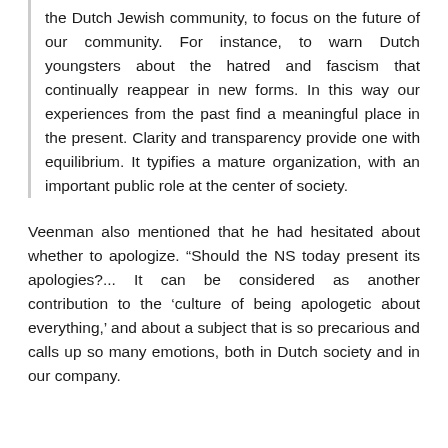the Dutch Jewish community, to focus on the future of our community. For instance, to warn Dutch youngsters about the hatred and fascism that continually reappear in new forms. In this way our experiences from the past find a meaningful place in the present. Clarity and transparency provide one with equilibrium. It typifies a mature organization, with an important public role at the center of society.
Veenman also mentioned that he had hesitated about whether to apologize. “Should the NS today present its apologies?... It can be considered as another contribution to the ‘culture of being apologetic about everything,’ and about a subject that is so precarious and calls up so many emotions, both in Dutch society and in our company.